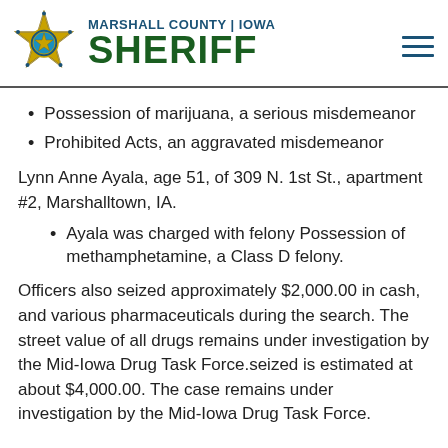MARSHALL COUNTY | IOWA SHERIFF
Possession of marijuana, a serious misdemeanor
Prohibited Acts, an aggravated misdemeanor
Lynn Anne Ayala, age 51, of 309 N. 1st St., apartment #2, Marshalltown, IA.
Ayala was charged with felony Possession of methamphetamine, a Class D felony.
Officers also seized approximately $2,000.00 in cash, and various pharmaceuticals during the search. The street value of all drugs remains under investigation by the Mid-Iowa Drug Task Force.seized is estimated at about $4,000.00. The case remains under investigation by the Mid-Iowa Drug Task Force.